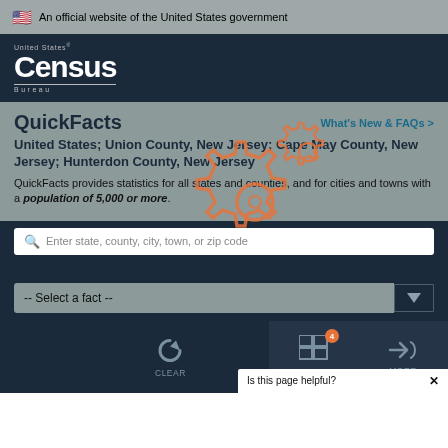🇺🇸 An official website of the United States government
[Figure (logo): United States Census Bureau logo — white text on dark navy background]
QuickFacts
What's New & FAQs >
United States; Union County, New Jersey; Cape May County, New Jersey; Hunterdon County, New Jersey
QuickFacts provides statistics for all states and counties, and for cities and towns with a population of 5,000 or more.
[Figure (illustration): Gear/settings icon overlay in orange, semi-transparent]
Enter state, county, city, town, or zip code
-- Select a fact --
CLEAR
TABLE 4
MORE
Is this page helpful?